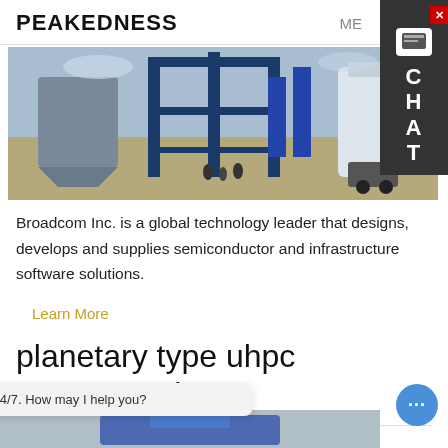PEAKEDNESS    ME
[Figure (photo): Industrial concrete mixing plant equipment with blue steel structures, silos, and conveyors on a construction site outdoors.]
Broadcom Inc. is a global technology leader that designs, develops and supplies semiconductor and infrastructure software solutions.
Learn More
planetary type uhpc concrete mixer
[Figure (photo): Partial view of concrete mixer equipment, bottom of page.]